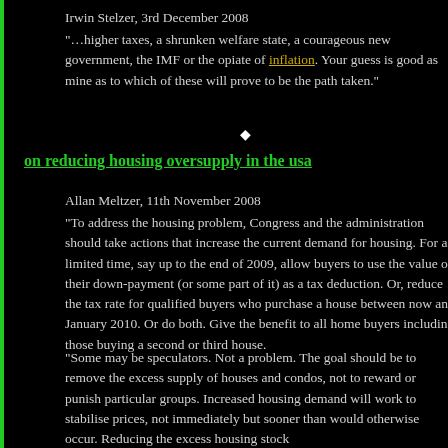Irwin Stelzer, 3rd December 2008
“…higher taxes, a shrunken welfare state, a courageous new government, the IMF or the opiate of inflation. Your guess is good as mine as to which of these will prove to be the path taken.”
on reducing housing oversupply in the usa
Allan Meltzer, 11th November 2008
“To address the housing problem, Congress and the administration should take actions that increase the current demand for housing. For a limited time, say up to the end of 2009, allow buyers to use the value of their down-payment (or some part of it) as a tax deduction. Or, reduce the tax rate for qualified buyers who purchase a house between now and January 2010. Or do both. Give the benefit to all home buyers including those buying a second or third house.
“Some may be speculators. Not a problem. The goal should be to remove the excess supply of houses and condos, not to reward or punish particular groups. Increased housing demand will work to stabilise prices, not immediately but sooner than would otherwise occur. Reducing the excess housing stock